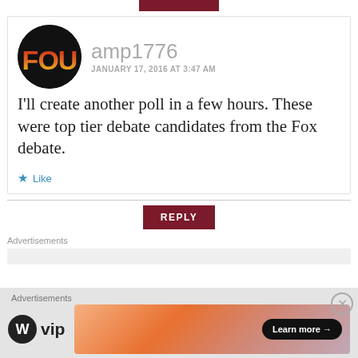[Figure (other): Dark red/maroon rectangular button bar at the top of page]
[Figure (illustration): Avatar circle with black background showing 'FOU' text in red-orange-yellow gradient lettering]
amp1776
JANUARY 17, 2016 AT 3:47 AM
I'll create another poll in a few hours. These were top tier debate candidates from the Fox debate.
Like
REPLY
Advertisements
Advertisements
[Figure (logo): WordPress VIP logo with circular W icon and 'vip' text]
[Figure (illustration): Advertisement banner with orange-pink gradient and 'Learn more' button]